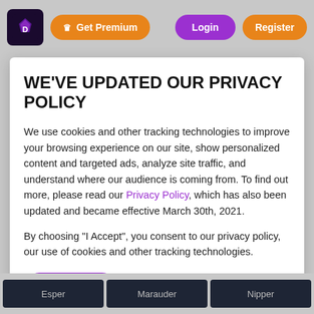[Figure (screenshot): Website header with logo, Get Premium button (orange), Login button (purple), Register button (orange)]
WE'VE UPDATED OUR PRIVACY POLICY
We use cookies and other tracking technologies to improve your browsing experience on our site, show personalized content and targeted ads, analyze site traffic, and understand where our audience is coming from. To find out more, please read our Privacy Policy, which has also been updated and became effective March 30th, 2021.
By choosing "I Accept", you consent to our privacy policy, our use of cookies and other tracking technologies.
I Accept
[Figure (screenshot): Bottom strip showing three dark cards labeled Esper, Marauder, Nipper]